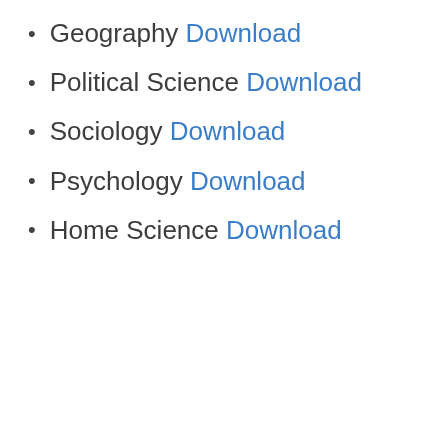Geography Download
Political Science Download
Sociology Download
Psychology Download
Home Science Download